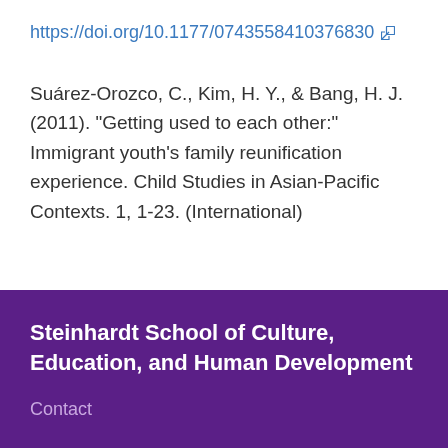https://doi.org/10.1177/0743558410376830
Suárez-Orozco, C., Kim, H. Y., & Bang, H. J. (2011). “Getting used to each other:” Immigrant youth’s family reunification experience. Child Studies in Asian-Pacific Contexts. 1, 1-23. (International)
Steinhardt School of Culture, Education, and Human Development
Contact